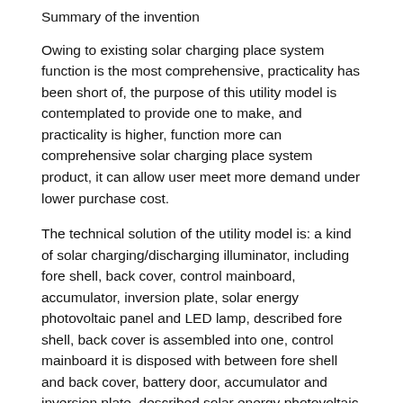Summary of the invention
Owing to existing solar charging place system function is the most comprehensive, practicality has been short of, the purpose of this utility model is contemplated to provide one to make, and practicality is higher, function more can comprehensive solar charging place system product, it can allow user meet more demand under lower purchase cost.
The technical solution of the utility model is: a kind of solar charging/discharging illuminator, including fore shell, back cover, control mainboard, accumulator, inversion plate, solar energy photovoltaic panel and LED lamp, described fore shell, back cover is assembled into one, control mainboard it is disposed with between fore shell and back cover, battery door, accumulator and inversion plate, described solar energy photovoltaic panel is arranged on the back cover back side, described LED lamp includes being arranged in the middle part of fore shell and being arranged on the LED of fore shell both sides, control circuit on described control mainboard respectively with solar energy photovoltaic panel, accumulator and LED lamp connection, AC output device is installed on described back cover, described AC output device is by inversion...